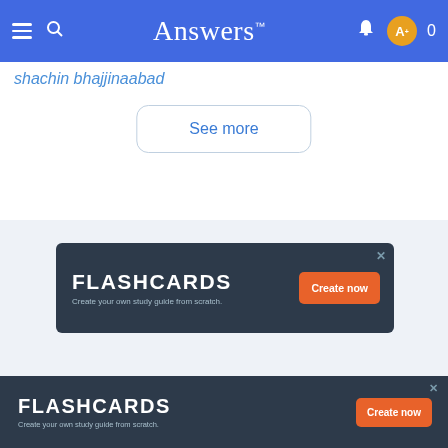Answers™  0
shachin bhajjinaabad
See more
[Figure (screenshot): Flashcards advertisement banner: dark navy background with 'FLASHCARDS' in large bold white text, subtext 'Create your own study guide from scratch.', and an orange 'Create now' button. Close X in top right.]
[Figure (screenshot): Flashcards advertisement banner at bottom of page: same navy background, 'FLASHCARDS' bold white, subtext 'Create your own study guide from scratch.', orange 'Create now' button, close X.]